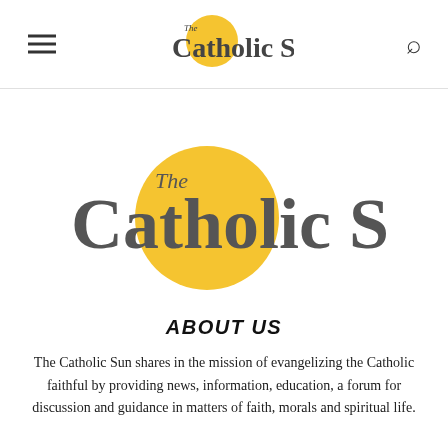The Catholic Sun
[Figure (logo): The Catholic Sun logo: large yellow circle behind text reading 'The Catholic Sun' in dark gray serif font]
ABOUT US
The Catholic Sun shares in the mission of evangelizing the Catholic faithful by providing news, information, education, a forum for discussion and guidance in matters of faith, morals and spiritual life.